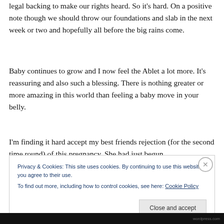legal backing to make our rights heard. So it's hard. On a positive note though we should throw our foundations and slab in the next week or two and hopefully all before the big rains come.
Baby continues to grow and I now feel the Ablet a lot more. It's reassuring and also such a blessing. There is nothing greater or more amazing in this world than feeling a baby move in your belly.
I'm finding it hard accept my best friends rejection (for the second time round) of this pregnancy. She had just begun
Privacy & Cookies: This site uses cookies. By continuing to use this website, you agree to their use.
To find out more, including how to control cookies, see here: Cookie Policy
Close and accept